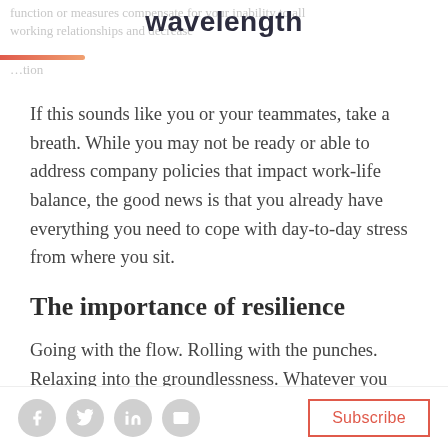wavelength
If this sounds like you or your teammates, take a breath. While you may not be ready or able to address company policies that impact work-life balance, the good news is that you already have everything you need to cope with day-to-day stress from where you sit.
The importance of resilience
Going with the flow. Rolling with the punches. Relaxing into the groundlessness. Whatever you want
Subscribe